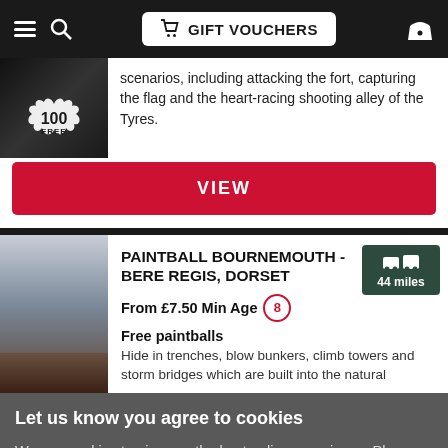GIFT VOUCHERS
scenarios, including attacking the fort, capturing the flag and the heart-racing shooting alley of the Tyres.
VIEW
PAINTBALL BOURNEMOUTH - BERE REGIS, DORSET
44 miles
From £7.50 Min Age 8
Free paintballs
Hide in trenches, blow bunkers, climb towers and storm bridges which are built into the natural
Let us know you agree to cookies
We use cookies to give you the best online experience. Please let us know if you agree to all of these cookies.
✓ OK   Take me to settings